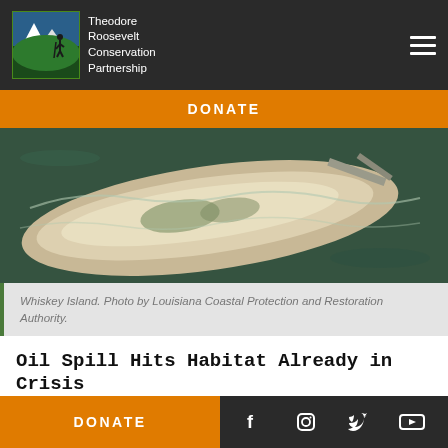[Figure (logo): Theodore Roosevelt Conservation Partnership logo with mountain/outdoors scene and hiker silhouette]
DONATE
[Figure (photo): Aerial photograph of Whiskey Island, a coastal barrier island with sandy beaches surrounded by dark water]
Whiskey Island. Photo by Louisiana Coastal Protection and Restoration Authority.
Oil Spill Hits Habitat Already in Crisis
From April 20, 2010 until nearly five months after, oil gushed from the Macondo Well, located a mile below
DONATE
Social media icons: Facebook, Instagram, Twitter, YouTube